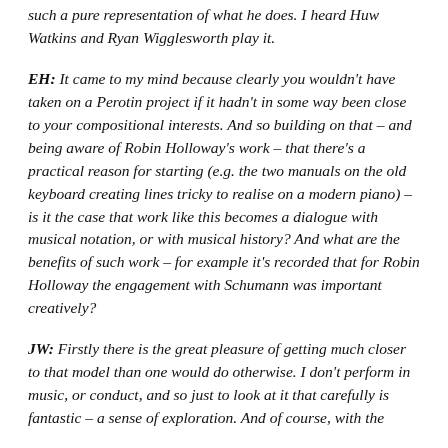such a pure representation of what he does. I heard Huw Watkins and Ryan Wigglesworth play it.
EH: It came to my mind because clearly you wouldn't have taken on a Perotin project if it hadn't in some way been close to your compositional interests. And so building on that – and being aware of Robin Holloway's work – that there's a practical reason for starting (e.g. the two manuals on the old keyboard creating lines tricky to realise on a modern piano) – is it the case that work like this becomes a dialogue with musical notation, or with musical history? And what are the benefits of such work – for example it's recorded that for Robin Holloway the engagement with Schumann was important creatively?
JW: Firstly there is the great pleasure of getting much closer to that model than one would do otherwise. I don't perform in music, or conduct, and so just to look at it that carefully is fantastic – a sense of exploration. And of course, with the